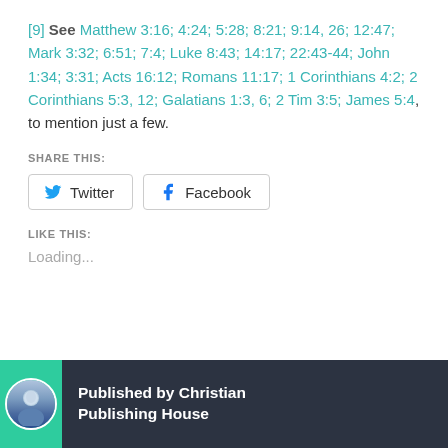[9] See Matthew 3:16; 4:24; 5:28; 8:21; 9:14, 26; 12:47; Mark 3:32; 6:51; 7:4; Luke 8:43; 14:17; 22:43-44; John 1:34; 3:31; Acts 16:12; Romans 11:17; 1 Corinthians 4:2; 2 Corinthians 5:3, 12; Galatians 1:3, 6; 2 Tim 3:5; James 5:4, to mention just a few.
SHARE THIS:
Twitter | Facebook
LIKE THIS:
Loading...
Published by Christian Publishing House